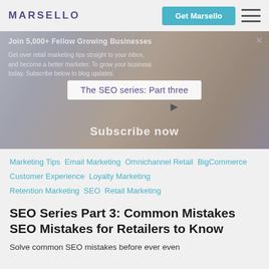MARSELLO
[Figure (screenshot): Hero image showing a desk scene with notebook, laptop, coffee cup, calendar. Overlay shows subscription modal with text 'Join 5,000+ Fellow Growing Businesses', 'Get over retail marketing tips straight to your inbox, and become a better marketer. To grow your business today. Subscribe below to blog updates.' and a white pill label reading 'The SEO series: Part three'. A 'Subscribe now' button is partially visible.]
Marketing Tips  Email Marketing  Omnichannel Retail  BigCommerce  Customer Experience  Loyalty Marketing  Retention Marketing  SEO  Retail Marketing
SEO Series Part 3: Common Mistakes SEO Mistakes for Retailers to Know
Solve common SEO mistakes before ever even